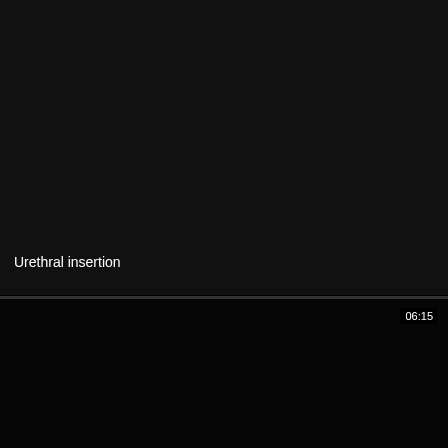[Figure (photo): Medical procedure photograph showing gloved hands performing urethral insertion with a metal instrument on anatomical tissue, close-up clinical view.]
Urethral insertion
[Figure (screenshot): Black/dark video thumbnail placeholder with a duration badge showing 06:15 in the upper right corner.]